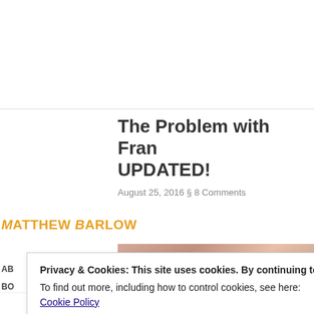The Problem with Fra... UPDATED!
August 25, 2016 § 8 Comments
Matthew Barlow
[Figure (photo): Partial photo visible behind cookie banner]
Privacy & Cookies: This site uses cookies. By continuing to use this website, you agree to their use.
To find out more, including how to control cookies, see here: Cookie Policy
Close and accept